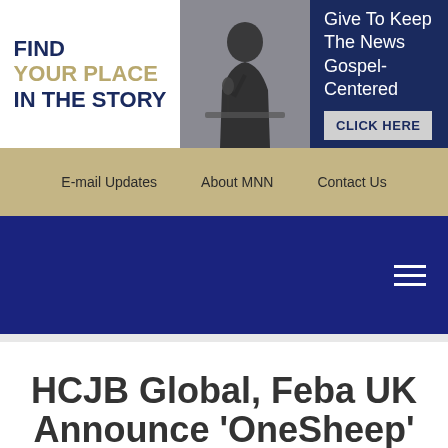[Figure (infographic): Banner advertisement with white left section containing 'FIND YOUR PLACE IN THE STORY' text, center photo of person at microphone, dark navy right section with text 'Give To Keep The News Gospel-Centered' and a grey 'CLICK HERE' button]
E-mail Updates   About MNN   Contact Us
Navigation menu with hamburger icon
HCJB Global, Feba UK Announce 'OneSheep' New Media Connection